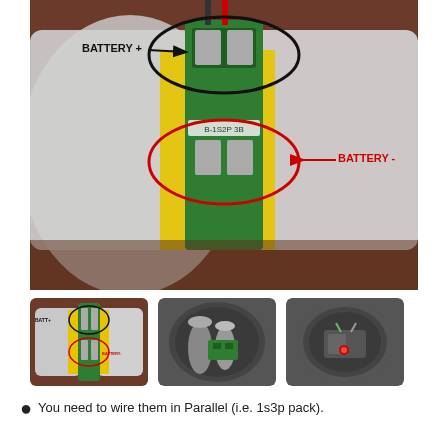[Figure (photo): Main photo of battery pack showing two large LiPo batteries (silver/white pouches) flanking a green BMS circuit board in the center. A black ellipse labels 'BATTERY +' on the upper connection point and a red ellipse labels 'BATTERY -' on the lower connection point. Arrows point to each terminal. Text on board reads 'B-1S2P 3B'.]
[Figure (photo): Thumbnail 1: Same battery pack view from slightly different angle showing BATTERY + and BATTERY - labels.]
[Figure (photo): Thumbnail 2: Circular view inside a cylindrical battery compartment showing cylindrical cells and a green BMS board.]
[Figure (photo): Thumbnail 3: Circular view inside another battery compartment showing an illuminated red indicator and internal wiring.]
You need to wire them in Parallel (i.e. 1s3p pack).